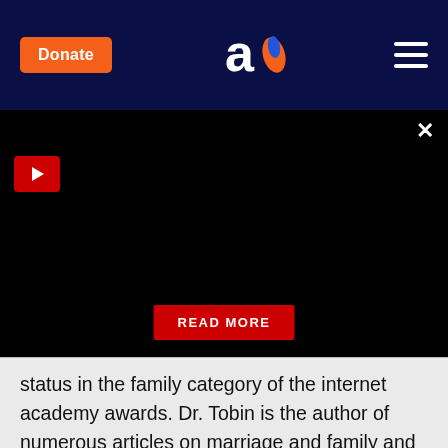Donate | Aish logo | (hamburger menu)
[Figure (screenshot): Black video player area with red play button and close X button, and a red READ MORE button at the bottom]
status in the family category of the internet academy awards. Dr. Tobin is the author of numerous articles on marriage and family and is the co-author of a book on marriage published in English, Hebrew, and German. Dr. Tobin is married to Dr. Deborah Risk Tobin and they have lived in Efrat with their family since they made aliyah in 1986.